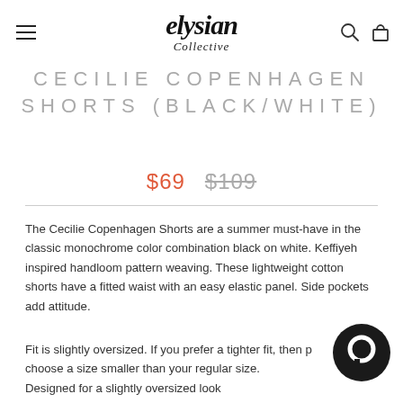elysian Collective
CECILIE COPENHAGEN SHORTS (BLACK/WHITE)
$69  $109
The Cecilie Copenhagen Shorts are a summer must-have in the classic monochrome color combination black on white. Keffiyeh inspired handloom pattern weaving. These lightweight cotton shorts have a fitted waist with an easy elastic panel. Side pockets add attitude.
Fit is slightly oversized. If you prefer a tighter fit, then please choose a size smaller than your regular size. Designed for a slightly oversized look